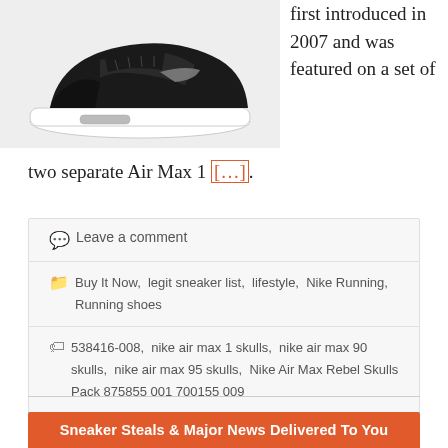[Figure (photo): Black Nike Air Max 95 sneaker on light grey background]
first introduced in 2007 and was featured on a set of two separate Air Max 1 […].
Leave a comment
Buy It Now, legit sneaker list, lifestyle, Nike Running, Running shoes
538416-008, nike air max 1 skulls, nike air max 90 skulls, nike air max 95 skulls, Nike Air Max Rebel Skulls Pack 875855 001 700155 009
Sneaker Steals & Major News Delivered To You